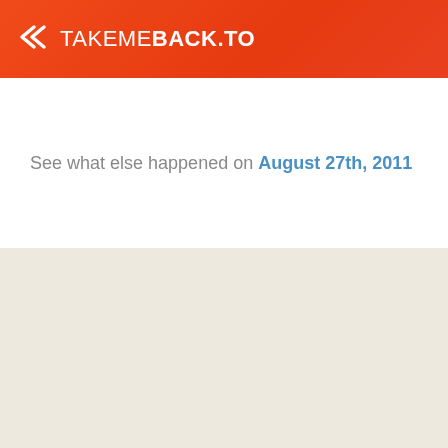TAKEMEBACK.TO
See what else happened on August 27th, 2011